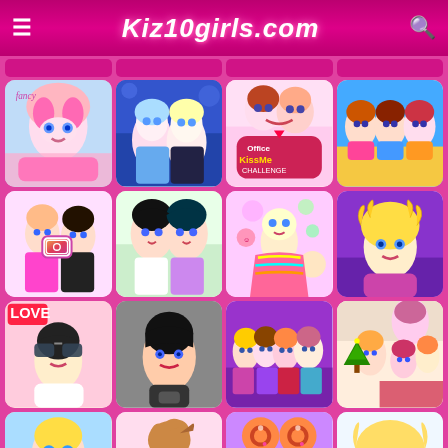Kiz10girls.com
[Figure (screenshot): Grid of girls game thumbnails on Kiz10girls.com website with pink background and logo header]
Kiz10girls.com - girls games website grid view